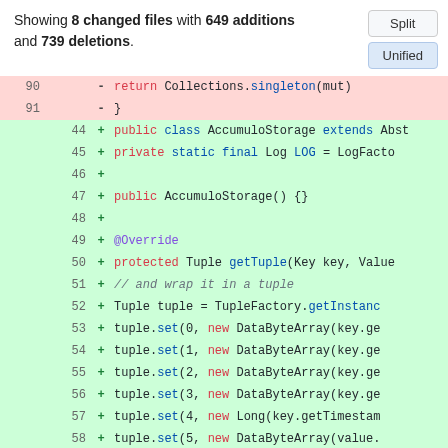Showing 8 changed files with 649 additions and 739 deletions.
[Figure (screenshot): Buttons: Split and Unified (active)]
| old | new | sign | code |
| --- | --- | --- | --- |
| 90 |  | - | return Collections.singleton(mut) |
| 91 |  | - | } |
|  | 44 | + | public class AccumuloStorage extends Abst |
|  | 45 | + |     private static final Log LOG = LogFacto |
|  | 46 | + |  |
|  | 47 | + |     public AccumuloStorage() {} |
|  | 48 | + |  |
|  | 49 | + |     @Override |
|  | 50 | + |     protected Tuple getTuple(Key key, Value |
|  | 51 | + |         // and wrap it in a tuple |
|  | 52 | + |         Tuple tuple = TupleFactory.getInstanc |
|  | 53 | + |         tuple.set(0, new DataByteArray(key.ge |
|  | 54 | + |         tuple.set(1, new DataByteArray(key.ge |
|  | 55 | + |         tuple.set(2, new DataByteArray(key.ge |
|  | 56 | + |         tuple.set(3, new DataByteArray(key.ge |
|  | 57 | + |         tuple.set(4, new Long(key.getTimestam |
|  | 58 | + |         tuple.set(5, new DataByteArray(value. |
|  | 59 | + |         return tuple; |